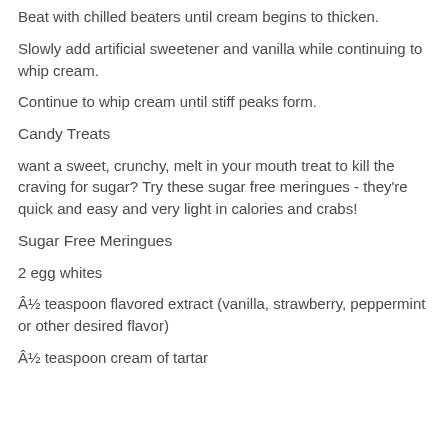Beat with chilled beaters until cream begins to thicken.
Slowly add artificial sweetener and vanilla while continuing to whip cream.
Continue to whip cream until stiff peaks form.
Candy Treats
want a sweet, crunchy, melt in your mouth treat to kill the craving for sugar? Try these sugar free meringues - they're quick and easy and very light in calories and crabs!
Sugar Free Meringues
2 egg whites
Â½ teaspoon flavored extract (vanilla, strawberry, peppermint or other desired flavor)
Â½ teaspoon cream of tartar